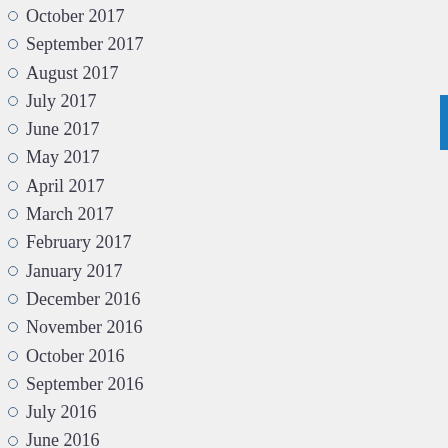October 2017
September 2017
August 2017
July 2017
June 2017
May 2017
April 2017
March 2017
February 2017
January 2017
December 2016
November 2016
October 2016
September 2016
July 2016
June 2016
May 2016
Categories
Christian Persecution
Coronavirus